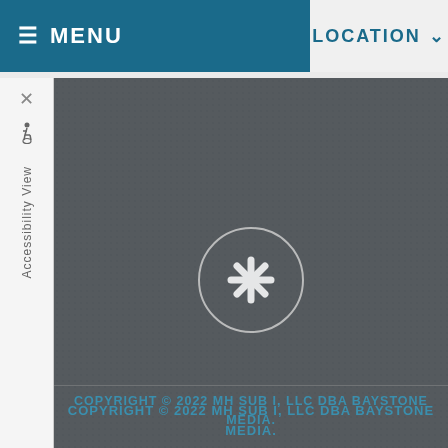≡ MENU   |   LOCATION ∨
Accessibility View
[Figure (logo): Yelp logo circle button with asterisk/burst icon in white on dark grey background]
COPYRIGHT © 2022 MH SUB I, LLC DBA BAYSTONE MEDIA.
ADMIN LOG IN
ACA NOTICES
SITE MAP